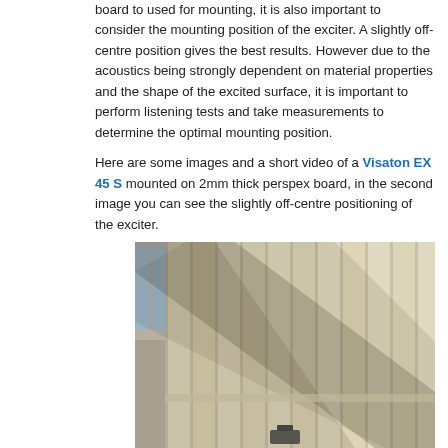board to used for mounting, it is also important to consider the mounting position of the exciter. A slightly off-centre position gives the best results. However due to the acoustics being strongly dependent on material properties and the shape of the excited surface, it is important to perform listening tests and take measurements to determine the optimal mounting position.
Here are some images and a short video of a Visaton EX 45 S mounted on 2mm thick perspex board, in the second image you can see the slightly off-centre positioning of the exciter.
[Figure (photo): Photo of a perspex board mounted on a wall or window frame, showing vertical panel lines with shadows cast across them, taken indoors near a window with blue sky visible.]